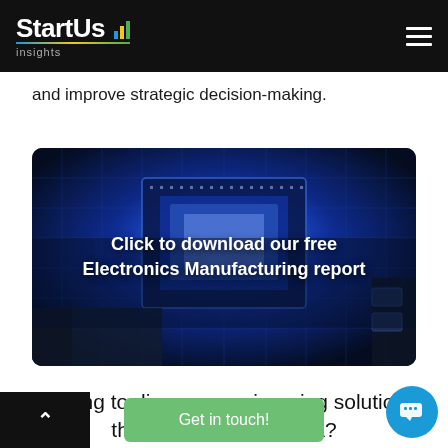StartUs Insights
and improve strategic decision-making.
[Figure (photo): Close-up photograph of a blue-lit electronic chip/CPU with 'Click to download our free Electronics Manufacturing report' text overlay]
Looking to discover engineering solutions that match your criteria?